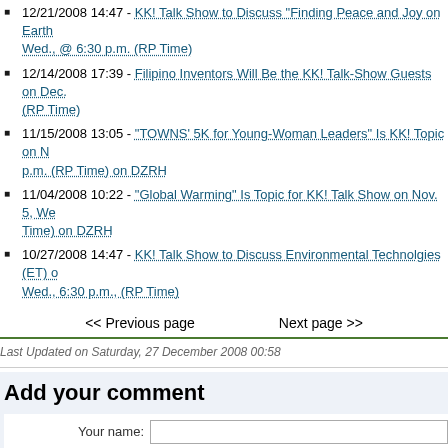12/21/2008 14:47 - KK! Talk Show to Discuss "Finding Peace and Joy on Earth" Wed., @ 6:30 p.m. (RP Time)
12/14/2008 17:39 - Filipino Inventors Will Be the KK! Talk-Show Guests on Dec. (RP Time)
11/15/2008 13:05 - "TOWNS' 5K for Young-Woman Leaders" Is KK! Topic on N... p.m. (RP Time) on DZRH
11/04/2008 10:22 - "Global Warming" Is Topic for KK! Talk Show on Nov. 5, We... Time) on DZRH
10/27/2008 14:47 - KK! Talk Show to Discuss Environmental Technolgies (ET) o... Wed., 6:30 p.m., (RP Time)
<< Previous page    Next page >>
Last Updated on Saturday, 27 December 2008 00:58
Add your comment
Your name:
Your email:
Subject:
Comment (you may use HTML tags here):